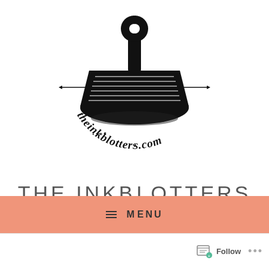[Figure (logo): Circular ink stamp logo with a rubber stamp image in the center and 'theinkblotters.com' text arched around the bottom in bold serif font. Decorative horizontal lines flank the stamp on the left and right.]
THE INKBLOTTERS
A WRITER'S LIFESTYLE BLOG
≡ MENU
Follow ...